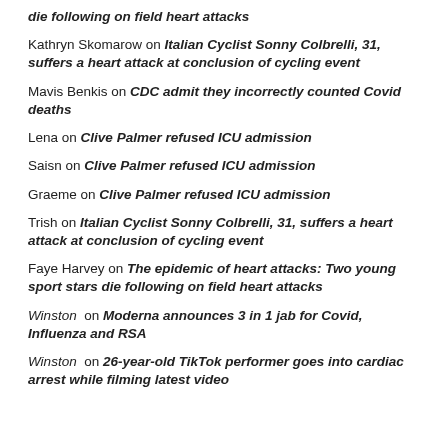die following on field heart attacks
Kathryn Skomarow on Italian Cyclist Sonny Colbrelli, 31, suffers a heart attack at conclusion of cycling event
Mavis Benkis on CDC admit they incorrectly counted Covid deaths
Lena on Clive Palmer refused ICU admission
Saisn on Clive Palmer refused ICU admission
Graeme on Clive Palmer refused ICU admission
Trish on Italian Cyclist Sonny Colbrelli, 31, suffers a heart attack at conclusion of cycling event
Faye Harvey on The epidemic of heart attacks: Two young sport stars die following on field heart attacks
Winston on Moderna announces 3 in 1 jab for Covid, Influenza and RSA
Winston on 26-year-old TikTok performer goes into cardiac arrest while filming latest video